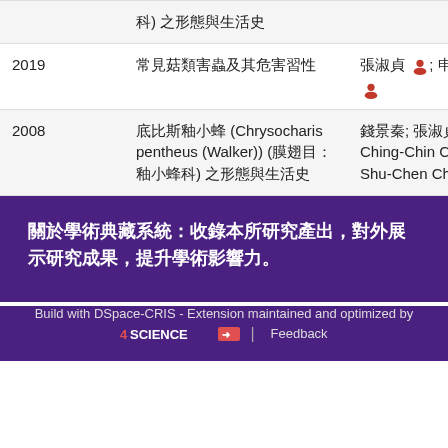| Year | Title | Author |
| --- | --- | --- |
|  | 科) 之形態與生活史 |  |
| 2019 | 常見菇類害蟲及其危害習性 | 張淑貞; 申屠營 |
| 2008 | 底比斯釉小蜂 (Chrysocharis pentheus (Walker)) (膜翅目：釉小蜂科) 之形態與生活史 | 錢景秦; 張淑貞; Ching-Chin Chien; Shu-Chen Chang |
關於學術典藏系統：收錄本所研究產出，對外展示研究成果，提升學術影響力。
Build with DSpace-CRIS - Extension maintained and optimized by 4SCIENCE → | Feedback